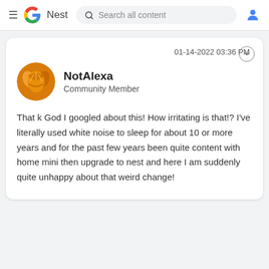Google Nest — Search all content
01-14-2022 03:36 PM
[Figure (illustration): Circular avatar image of user NotAlexa with an orange/gold illustrated design]
NotAlexa
Community Member
That k God I googled about this! How irritating is that!? I've literally used white noise to sleep for about 10 or more years and for the past few years been quite content with home mini then upgrade to nest and here I am suddenly quite unhappy about that weird change!